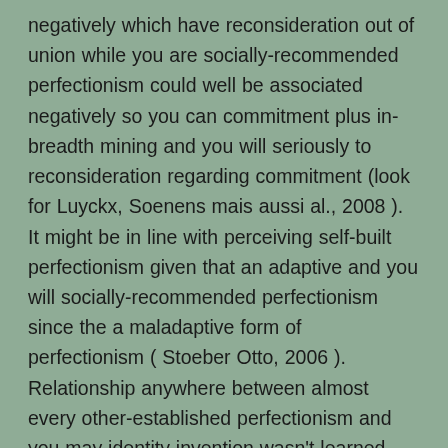negatively which have reconsideration out of union while you are socially-recommended perfectionism could well be associated negatively so you can commitment plus in-breadth mining and you will seriously to reconsideration regarding commitment (look for Luyckx, Soenens mais aussi al., 2008 ). It might be in line with perceiving self-built perfectionism given that an adaptive and you will socially-recommended perfectionism since the a maladaptive form of perfectionism ( Stoeber Otto, 2006 ). Relationship anywhere between almost every other-established perfectionism and you may identity invention wasn't learned thus far, yet not, it measurement regarding perfectionism seriously correlates which have antisocial decisions and focus to the your self and you may an individual's own requires ( Stoeber, 2014 , 2015 ), which are contradictory so you're able to satisfying the newest part regarding a daddy. Correctly, it actually was assumed so it manage absolutely correlate with the seriousness regarding